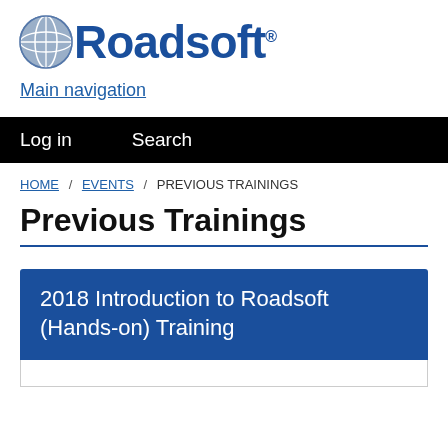[Figure (logo): Roadsoft logo with globe icon and bold blue text reading 'Roadsoft' with registered trademark symbol]
Main navigation
Log in   Search
HOME / EVENTS / PREVIOUS TRAININGS
Previous Trainings
2018 Introduction to Roadsoft (Hands-on) Training